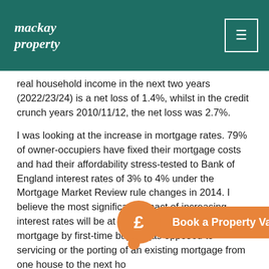mackay property
real household income in the next two years (2022/23/24) is a net loss of 1.4%, whilst in the credit crunch years 2010/11/12, the net loss was 2.7%.
I was looking at the increase in mortgage rates. 79% of owner-occupiers have fixed their mortgage costs and had their affordability stress-tested to Bank of England interest rates of 3% to 4% under the Mortgage Market Review rule changes in 2014. I believe the most significant impact of increasing interest rates will be at the point of taking on a new mortgage by first-time buyers (as opposed to servicing or the porting of an existing mortgage from one house to the next ho…
The four success… inflation and the rising cost of living are likely to bring…
[Figure (infographic): Orange circular bubble with pound sign (£) and a 'Book a Property Valuation' button in orange pill shape]